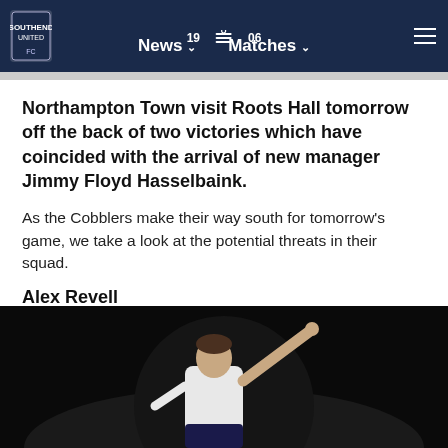News  Matches  19 06
Northampton Town visit Roots Hall tomorrow off the back of two victories which have coincided with the arrival of new manager Jimmy Floyd Hasselbaink.
As the Cobblers make their way south for tomorrow's game, we take a look at the potential threats in their squad.
Alex Revell
[Figure (photo): A footballer in a white kit pointing upward with one arm, photographed against a dark background]